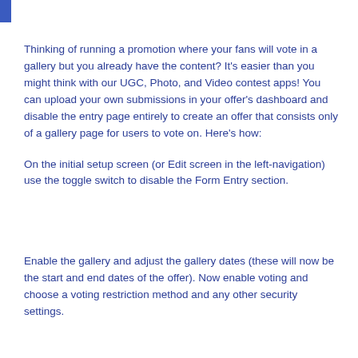Thinking of running a promotion where your fans will vote in a gallery but you already have the content? It's easier than you might think with our UGC, Photo, and Video contest apps! You can upload your own submissions in your offer's dashboard and disable the entry page entirely to create an offer that consists only of a gallery page for users to vote on. Here's how:
On the initial setup screen (or Edit screen in the left-navigation) use the toggle switch to disable the Form Entry section.
Enable the gallery and adjust the gallery dates (these will now be the start and end dates of the offer). Now enable voting and choose a voting restriction method and any other security settings.